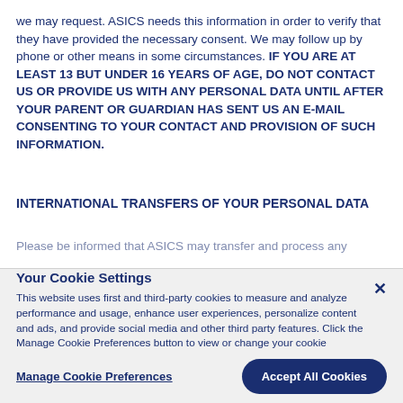we may request. ASICS needs this information in order to verify that they have provided the necessary consent. We may follow up by phone or other means in some circumstances. IF YOU ARE AT LEAST 13 BUT UNDER 16 YEARS OF AGE, DO NOT CONTACT US OR PROVIDE US WITH ANY PERSONAL DATA UNTIL AFTER YOUR PARENT OR GUARDIAN HAS SENT US AN E-MAIL CONSENTING TO YOUR CONTACT AND PROVISION OF SUCH INFORMATION.
INTERNATIONAL TRANSFERS OF YOUR PERSONAL DATA
Please be informed that ASICS may transfer and process any personal
Your Cookie Settings

This website uses first and third-party cookies to measure and analyze performance and usage, enhance user experiences, personalize content and ads, and provide social media and other third party features. Click the Manage Cookie Preferences button to view or change your cookie preferences for this website. For more information view our Privacy Policy and Cookie Policy.
Manage Cookie Preferences
Accept All Cookies